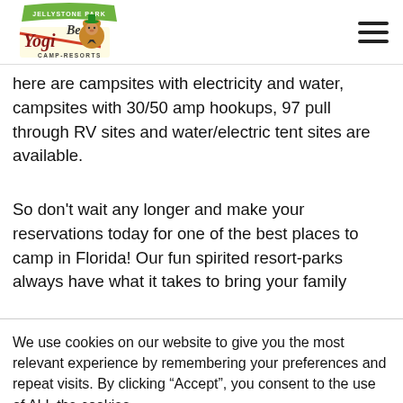[Figure (logo): Yogi Bear's Jellystone Park Camp-Resorts logo with cartoon bear character]
here are campsites with electricity and water, campsites with 30/50 amp hookups, 97 pull through RV sites and water/electric tent sites are available.
So don't wait any longer and make your reservations today for one of the best places to camp in Florida! Our fun spirited resort-parks always have what it takes to bring your family
We use cookies on our website to give you the most relevant experience by remembering your preferences and repeat visits. By clicking “Accept”, you consent to the use of ALL the cookies.
Cookie settings
ACCEPT